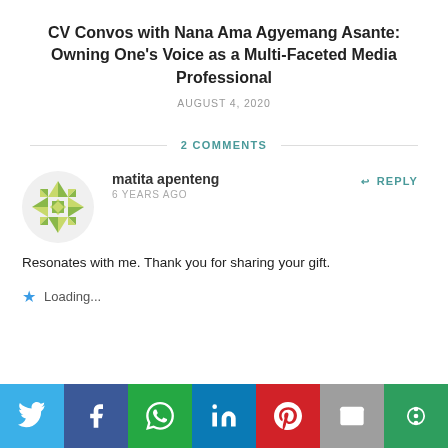CV Convos with Nana Ama Agyemang Asante: Owning One's Voice as a Multi-Faceted Media Professional
AUGUST 4, 2020
2 COMMENTS
[Figure (illustration): Avatar icon — a circular geometric pattern made of green/yellow triangular segments forming a snowflake/star pattern]
matita apenteng
6 YEARS AGO
REPLY
Resonates with me. Thank you for sharing your gift.
Loading...